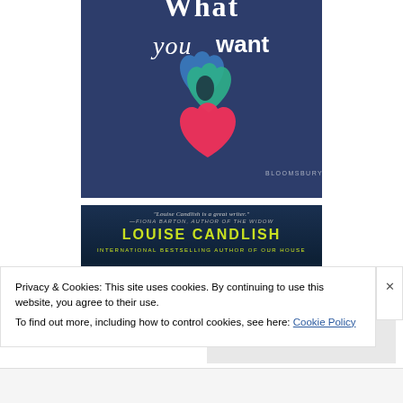[Figure (illustration): Book cover showing 'What you want' title text in white on navy blue background with overlapping paper heart shapes in blue, teal, green and pink, with BLOOMSBURY publisher name. Top portion of cover visible.]
[Figure (illustration): Book cover featuring Louise Candlish, international bestselling author of Our House. Dark moody background with quote 'Louise Candlish is a great writer.' —FIONA BARTON, AUTHOR OF THE WIDOW. Author name in large yellow-green letters.]
Privacy & Cookies: This site uses cookies. By continuing to use this website, you agree to their use.
To find out more, including how to control cookies, see here: Cookie Policy
Close and accept